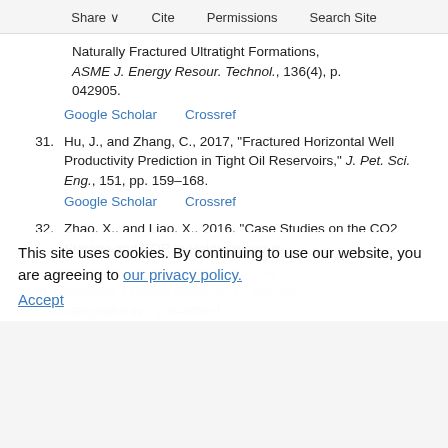Share  Cite  Permissions  Search Site
Naturally Fractured Ultratight Formations, ASME J. Energy Resour. Technol., 136(4), p. 042905.
Google Scholar    Crossref
31. Hu, J., and Zhang, C., 2017, “Fractured Horizontal Well Productivity Prediction in Tight Oil Reservoirs,” J. Pet. Sci. Eng., 151, pp. 159–168.
Google Scholar    Crossref
32. Zhao, X., and Liao, X., 2016, “Case Studies on the CO2 Storage and EOR in Heterogeneous, Highly Water-Saturated, and Extra-Low Permeability Chinese Reservoirs,” Natural Gas Engineer, pp. 234–256.
This site uses cookies. By continuing to use our website, you are agreeing to our privacy policy. Accept
Google Scholar    Crossref